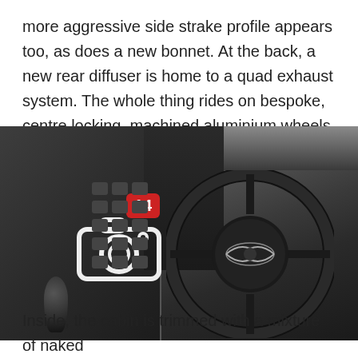more aggressive side strake profile appears too, as does a new bonnet. At the back, a new rear diffuser is home to a quad exhaust system. The whole thing rides on bespoke, centre locking, machined aluminium wheels.
[Figure (photo): Interior photo of an Aston Martin showing the dashboard, steering wheel with Aston Martin logo, gear shifter, and various controls. A camera icon overlay with a red badge showing '14' is displayed in the center of the image.]
Inside, the cabin is trimmed with a mixture of naked